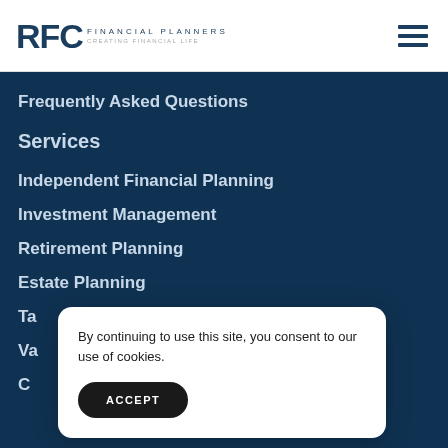RFC FINANCIAL PLANNERS
Frequently Asked Questions
Services
Independent Financial Planning
Investment Management
Retirement Planning
Estate Planning
Ta...
Va...
C...
By continuing to use this site, you consent to our use of cookies.
ACCEPT